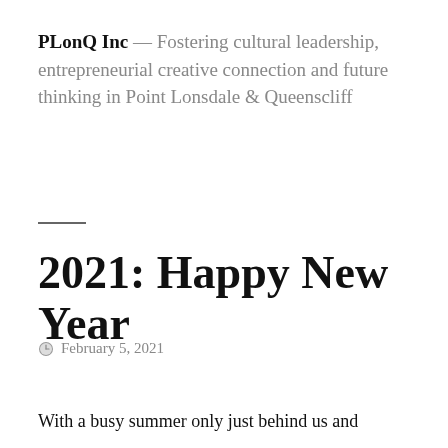PLonQ Inc — Fostering cultural leadership, entrepreneurial creative connection and future thinking in Point Lonsdale & Queenscliff
2021: Happy New Year
February 5, 2021
With a busy summer only just behind us and